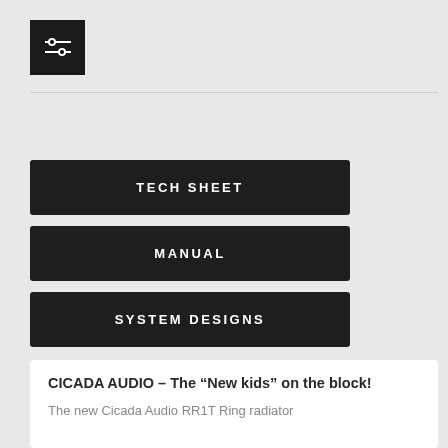[Figure (other): Filter/settings icon button — dark square with two horizontal sliders icon in white]
TECH SHEET
MANUAL
SYSTEM DESIGNS
CICADA AUDIO – The “New kids” on the block!
The new Cicada Audio RR1T Ring radiator